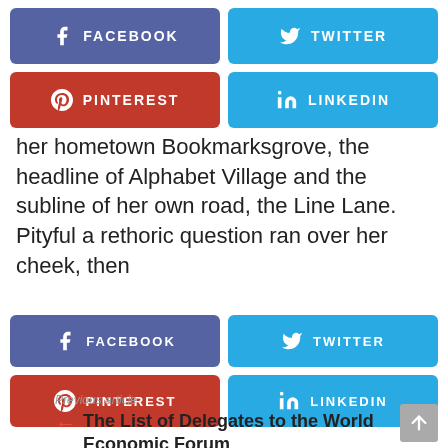[Figure (infographic): Social sharing buttons row 1: Facebook (blue-purple) and Twitter (blue)]
[Figure (infographic): Social sharing buttons row 2: Pinterest (red) and LinkedIn (blue)]
her hometown Bookmarksgrove, the headline of Alphabet Village and the subline of her own road, the Line Lane. Pityful a rethoric question ran over her cheek, then
[Figure (infographic): Second set of social sharing buttons: Facebook, Twitter, Pinterest, LinkedIn]
Previous article
← The List of Delegates to the World Economic Forum